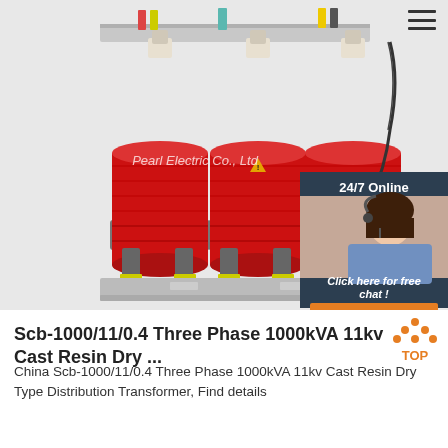[Figure (photo): Three-phase 1000kVA dry-type cast resin distribution transformer with red cylindrical coils, gray frame, and colored cable connections at top. The image includes a company watermark 'Pearl Electric Co., Ltd' and a 24/7 online chat widget in the bottom-right corner of the image with an agent photo, 'Click here for free chat!' text, and an orange QUOTATION button.]
Scb-1000/11/0.4 Three Phase 1000kVA 11kv Cast Resin Dry ...
China Scb-1000/11/0.4 Three Phase 1000kVA 11kv Cast Resin Dry Type Distribution Transformer, Find details